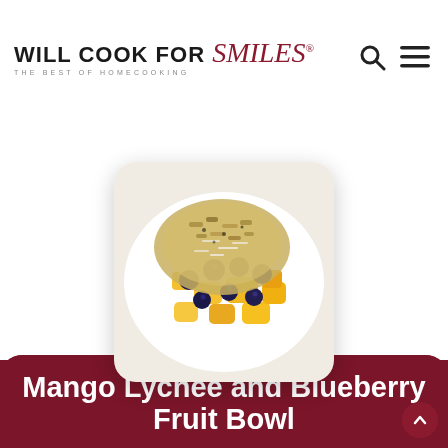WILL COOK FOR Smiles® THE BEST OF HOMECOOKING
[Figure (photo): Overhead close-up of a fruit bowl with mango chunks, blueberries, granola, and shredded coconut in a white bowl]
Mango Lychee and Blueberry Fruit Bowl
Tropical fruit bowl made with mangoes, lychee fruit, blueberries, granola bars, and more tasty treats.
Star rating (5 stars)